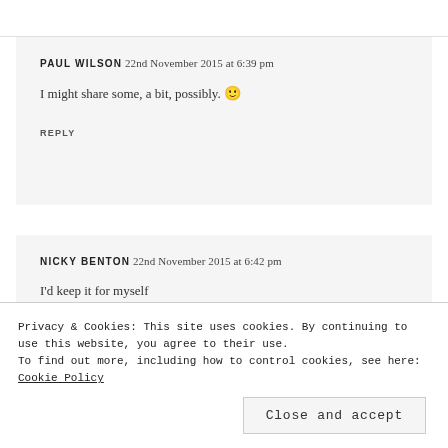PAUL WILSON 22nd November 2015 at 6:39 pm
I might share some, a bit, possibly. 🙂
REPLY
NICKY BENTON 22nd November 2015 at 6:42 pm
I'd keep it for myself
Privacy & Cookies: This site uses cookies. By continuing to use this website, you agree to their use.
To find out more, including how to control cookies, see here: Cookie Policy
Close and accept